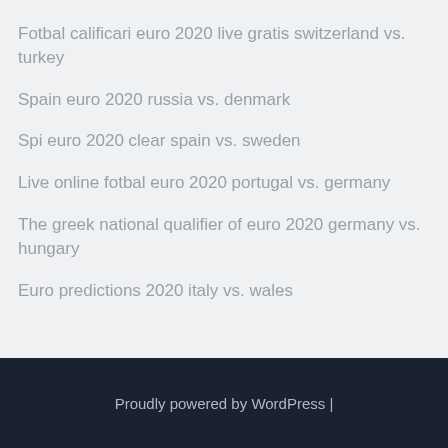Fotbal calificari euro 2020 live gratis switzerland vs. turkey
Spain euro 2020 russia vs. denmark
Spi euro 2020 clear spain vs. sweden
Live online fotbal euro 2020 portugal vs. germany
The greek national qualifier of euro 2020 germany vs. hungary
Euro predictions 2020 italy vs. wales
Proudly powered by WordPress |